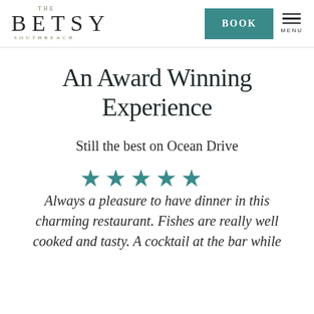THE BETSY SOUTHBEACH | BOOK | MENU
An Award Winning Experience
Still the best on Ocean Drive
[Figure (other): Five teal/gold filled star rating icons]
Always a pleasure to have dinner in this charming restaurant. Fishes are really well cooked and tasty. A cocktail at the bar while